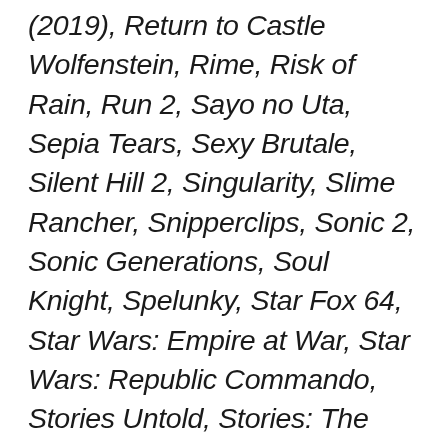(2019), Return to Castle Wolfenstein, Rime, Risk of Rain, Run 2, Sayo no Uta, Sepia Tears, Sexy Brutale, Silent Hill 2, Singularity, Slime Rancher, Snipperclips, Sonic 2, Sonic Generations, Soul Knight, Spelunky, Star Fox 64, Star Wars: Empire at War, Star Wars: Republic Commando, Stories Untold, Stories: The Path of Destinies, Streets of Rage, Suikoden 2, Sunset Riders, Super Mario Bros., Super Mario Bros. 3, Super Mario Land, Super Mario World, New Super Mario Bros. 2, New Super Mario Bros. U, Super Metroid, Take That, Terraria, The Adventures of Batman & Robin (1994), The Company of